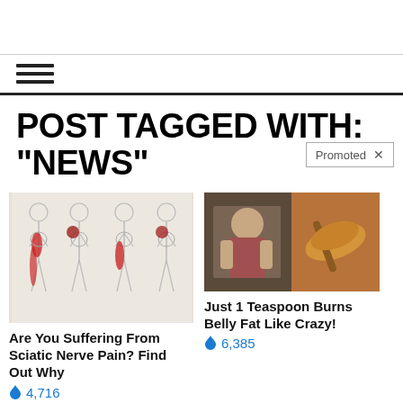[Figure (screenshot): Top navigation bar area, blank white space]
[Figure (illustration): Hamburger menu icon with three horizontal lines]
POST TAGGED WITH: "NEWS"
Promoted X
[Figure (illustration): Medical illustration showing sciatic nerve pain in human body silhouettes with red highlighted pain areas]
Are You Suffering From Sciatic Nerve Pain? Find Out Why
4,716
[Figure (photo): Split image: left side shows a fit person at gym, right side shows a spoon with brown powder/spice]
Just 1 Teaspoon Burns Belly Fat Like Crazy!
6,385